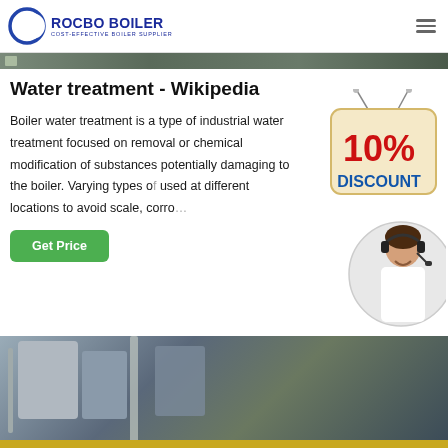[Figure (logo): Rocbo Boiler logo with blue crescent/C shape and text 'ROCBO BOILER - COST-EFFECTIVE BOILER SUPPLIER']
[Figure (photo): Partial view of industrial boiler or machinery at top of page]
Water treatment - Wikipedia
Boiler water treatment is a type of industrial water treatment focused on removal or chemical modification of substances potentially damaging to the boiler. Varying types of used at different locations to avoid scale, corro…
[Figure (infographic): 10% DISCOUNT badge/sign hanging with red text on cream background]
[Figure (photo): Customer service representative with headset smiling, circular image overlay]
[Figure (photo): Industrial boiler room with piping and equipment]